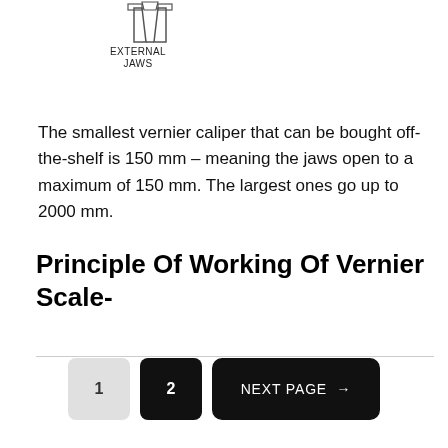[Figure (illustration): Diagram of external jaws of a vernier caliper, shown from above, with label EXTERNAL JAWS]
EXTERNAL
JAWS
The smallest vernier caliper that can be bought off-the-shelf is 150 mm – meaning the jaws open to a maximum of 150 mm. The largest ones go up to 2000 mm.
Principle Of Working Of Vernier Scale-
1   2   NEXT PAGE →